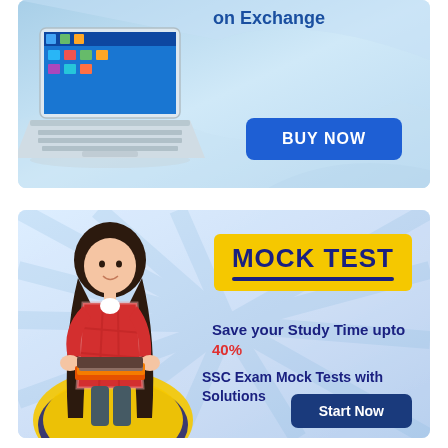[Figure (infographic): Advertisement banner showing a laptop on a light blue gradient background with text 'on Exchange' and a blue 'BUY NOW' button]
[Figure (infographic): Educational advertisement with a girl holding books on a light blue ray-burst background. Yellow badge says 'MOCK TEST'. Text: 'Save your Study Time upto 40%', 'SSC Exam Mock Tests with Solutions', and a 'Start Now' button.]